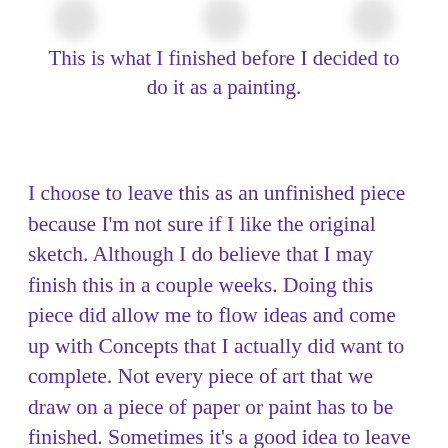[blurred profile images]
This is what I finished before I decided to do it as a painting.
I choose to leave this as an unfinished piece because I'm not sure if I like the original sketch. Although I do believe that I may finish this in a couple weeks. Doing this piece did allow me to flow ideas and come up with Concepts that I actually did want to complete. Not every piece of art that we draw on a piece of paper or paint has to be finished. Sometimes it's a good idea to leave it as is  revisit it another day.